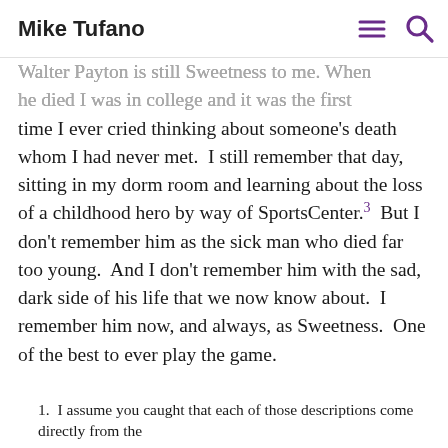Mike Tufano
Walter Payton is still Sweetness to me. When he died I was in college and it was the first time I ever cried thinking about someone's death whom I had never met.  I still remember that day, sitting in my dorm room and learning about the loss of a childhood hero by way of SportsCenter.3  But I don't remember him as the sick man who died far too young.  And I don't remember him with the sad, dark side of his life that we now know about.  I remember him now, and always, as Sweetness.  One of the best to ever play the game.
I assume you caught that each of those descriptions come directly from the